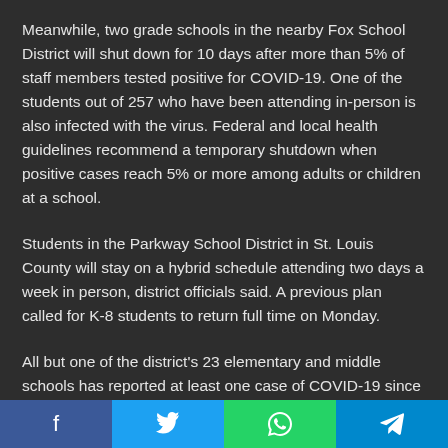Meanwhile, two grade schools in the nearby Fox School District will shut down for 10 days after more than 5% of staff members tested positive for COVID-19. One of the students out of 257 who have been attending in-person is also infected with the virus. Federal and local health guidelines recommend a temporary shutdown when positive cases reach 5% or more among adults or children at a school.
Students in the Parkway School District in St. Louis County will stay on a hybrid schedule attending two days a week in person, district officials said. A previous plan called for K-8 students to return full time on Monday.
All but one of the district's 23 elementary and middle schools has reported at least one case of COVID-19 since reopening